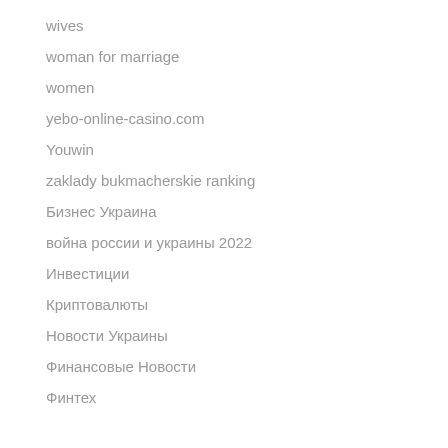wives
woman for marriage
women
yebo-online-casino.com
Youwin
zaklady bukmacherskie ranking
Бизнес Украина
война россии и украины 2022
Инвестиции
Криптовалюты
Новости Украины
Финансовые Новости
Финтех